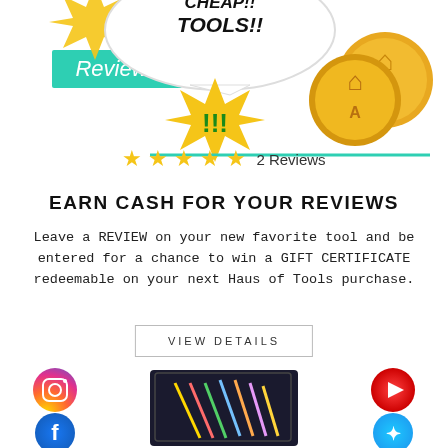[Figure (illustration): Comic-style banner showing speech bubbles saying 'CHEAP TOOLS!!' with exclamation marks and gold coins with a house/tools logo. Teal 'Reviews' label on left side. Five gold stars and '2 Reviews' text below.]
2 Reviews
EARN CASH FOR YOUR REVIEWS
Leave a REVIEW on your new favorite tool and be entered for a chance to win a GIFT CERTIFICATE redeemable on your next Haus of Tools purchase.
VIEW DETAILS
[Figure (photo): Bottom section showing social media icons (Instagram, Facebook on left; YouTube, Twitter on right) flanking a product photo of hex key/allen wrench sets in packaging.]